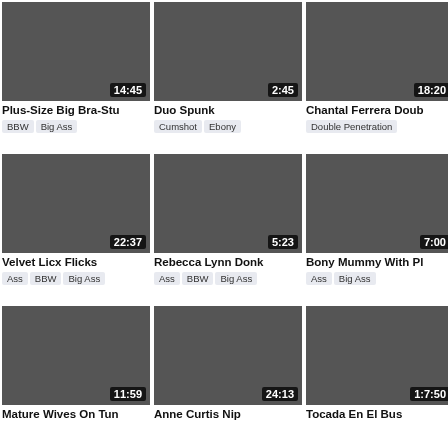[Figure (screenshot): Video thumbnail grid showing 9 adult video thumbnails with titles, durations, and category tags]
Plus-Size Big Bra-Stu | 14:45 | BBW, Big Ass
Duo Spunk | 2:45 | Cumshot, Ebony
Chantal Ferrera Doub | 18:20 | Double Penetration
Velvet Licx Flicks | 22:37 | Ass, BBW, Big Ass
Rebecca Lynn Donk | 5:23 | Ass, BBW, Big Ass
Bony Mummy With Pl | 7:00 | Ass, Big Ass
Mature Wives On Tun | 11:59
Anne Curtis Nip | 24:13
Tocada En El Bus | 1:7:50